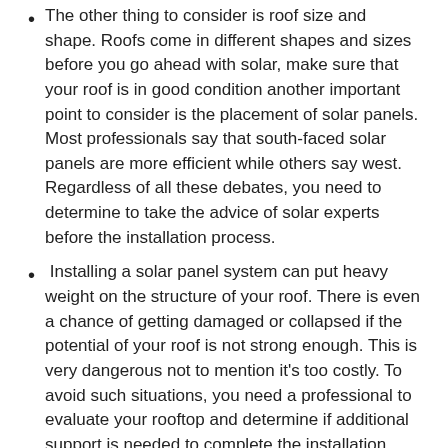The other thing to consider is roof size and shape. Roofs come in different shapes and sizes before you go ahead with solar, make sure that your roof is in good condition another important point to consider is the placement of solar panels. Most professionals say that south-faced solar panels are more efficient while others say west. Regardless of all these debates, you need to determine to take the advice of solar experts before the installation process.
Installing a solar panel system can put heavy weight on the structure of your roof. There is even a chance of getting damaged or collapsed if the potential of your roof is not strong enough. This is very dangerous not to mention it's too costly. To avoid such situations, you need a professional to evaluate your rooftop and determine if additional support is needed to complete the installation.
These are some of the important points you need to consider.